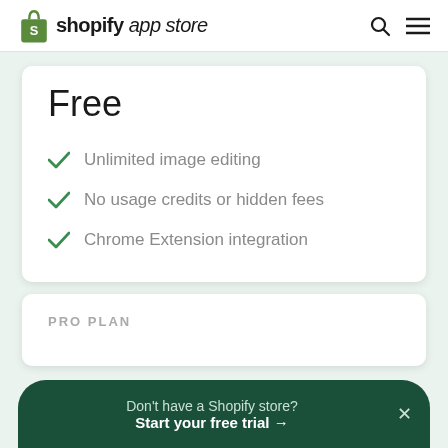shopify app store
Free
Unlimited image editing
No usage credits or hidden fees
Chrome Extension integration
PRO PLAN
Don't have a Shopify store? Start your free trial →